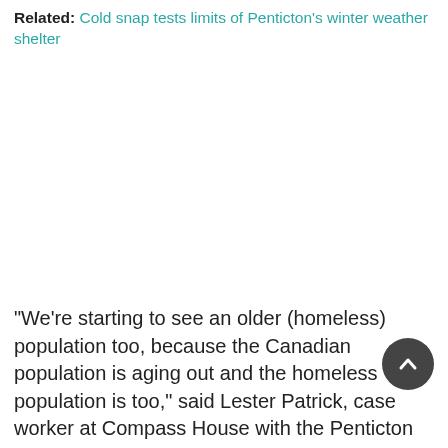Related: Cold snap tests limits of Penticton's winter weather shelter
“We’re starting to see an older (homeless) population too, because the Canadian population is aging out and the homeless population is too,” said Lester Patrick, case worker at Compass House with the Penticton Salvation Army. “That’s bringing a lot of challenges because their